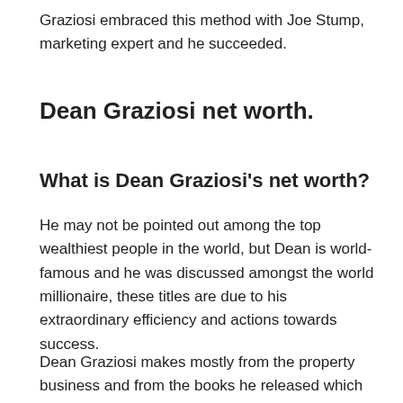Graziosi embraced this method with Joe Stump, marketing expert and he succeeded.
Dean Graziosi net worth.
What is Dean Graziosi's net worth?
He may not be pointed out among the top wealthiest people in the world, but Dean is world-famous and he was discussed amongst the world millionaire, these titles are due to his extraordinary efficiency and actions towards success.
Dean Graziosi makes mostly from the property business and from the books he released which